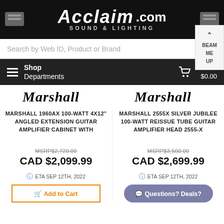[Figure (logo): Acclaim Sound & Lighting .com header logo on black background]
Search by Web ID, Product or Brand
Shop Departments | 0 items $0.00
[Figure (logo): Marshall script logo (left product)]
MARSHALL 1960AX 100-WATT 4X12" ANGLED EXTENSION GUITAR AMPLIFIER CABINET WITH
MSRP$2,720.00
CAD $2,099.99
ETA SEP 12TH, 2022
Add to Cart
[Figure (logo): Marshall script logo (right product)]
MARSHALL 2555X SILVER JUBILEE 100-WATT REISSUE TUBE GUITAR AMPLIFIER HEAD 2555-X
MSRP$3,500.00
CAD $2,699.99
ETA SEP 12TH, 2022
Questions? Deals?
BEAM ME UP